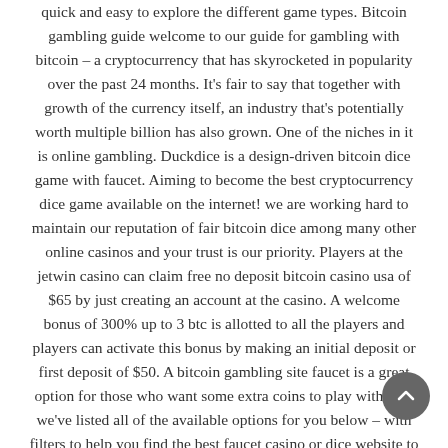quick and easy to explore the different game types. Bitcoin gambling guide welcome to our guide for gambling with bitcoin – a cryptocurrency that has skyrocketed in popularity over the past 24 months. It's fair to say that together with growth of the currency itself, an industry that's potentially worth multiple billion has also grown. One of the niches in it is online gambling. Duckdice is a design-driven bitcoin dice game with faucet. Aiming to become the best cryptocurrency dice game available on the internet! we are working hard to maintain our reputation of fair bitcoin dice among many other online casinos and your trust is our priority. Players at the jetwin casino can claim free no deposit bitcoin casino usa of $65 by just creating an account at the casino. A welcome bonus of 300% up to 3 btc is allotted to all the players and players can activate this bonus by making an initial deposit or first deposit of $50. A bitcoin gambling site faucet is a great option for those who want some extra coins to play with, and we've listed all of the available options for you below – with filters to help you find the best faucet casino or dice website to play at! Another btc